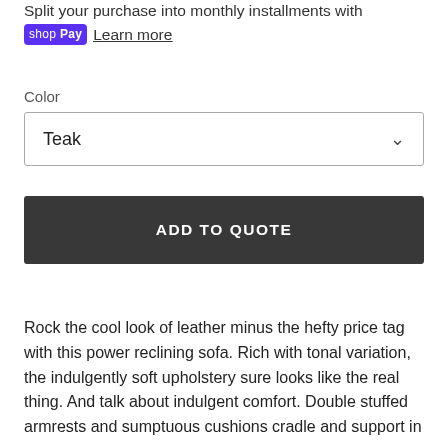Split your purchase into monthly installments with shop Pay  Learn more
Color
Teak
ADD TO QUOTE
Rock the cool look of leather minus the hefty price tag with this power reclining sofa. Rich with tonal variation, the indulgently soft upholstery sure looks like the real thing. And talk about indulgent comfort. Double stuffed armrests and sumptuous cushions cradle and support in